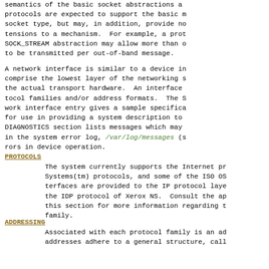semantics of the basic socket abstractions and protocols are expected to support the basic m socket type, but may, in addition, provide no tensions to a mechanism. For example, a prot SOCK_STREAM abstraction may allow more than o to be transmitted per out-of-band message.
A network interface is similar to a device in comprise the lowest layer of the networking s the actual transport hardware. An interface tocol families and/or address formats. The S work interface entry gives a sample specifica for use in providing a system description to DIAGNOSTICS section lists messages which may in the system error log, /var/log/messages (s rors in device operation.
PROTOCOLS
The system currently supports the Internet pr Systems(tm) protocols, and some of the ISO OS terfaces are provided to the IP protocol laye the IDP protocol of Xerox NS. Consult the ap this section for more information regarding t family.
ADDRESSING
Associated with each protocol family is an ad addresses adhere to a general structure, call